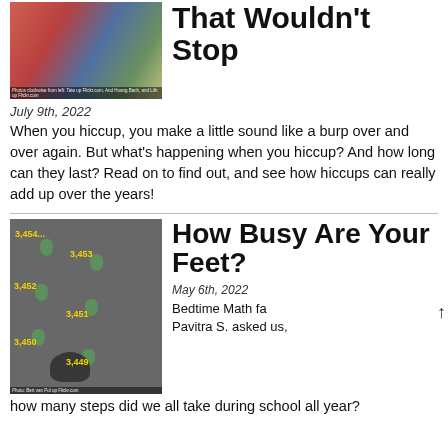[Figure (photo): Photo of children hiccupping, showing a girl in red and another child outdoors. Caption: Photos clockwise from left: Tate up Flickr.com, And Hoang Bach, and Lith up Flickr.com]
That Wouldn't Stop
July 9th, 2022
When you hiccup, you make a little sound like a burp over and over again. But what's happening when you hiccup? And how long can they last? Read on to find out, and see how hiccups can really add up over the years!
[Figure (photo): Photo showing footsteps on pavement with step count numbers: 3,454..., 3,453, 3,452, 3,451, 3,450, 3,449. Photo: Bert van Pol up Flickr.com]
How Busy Are Your Feet?
May 6th, 2022
Bedtime Math fan Pavitra S. asked us, how many steps did we all take during school all year?